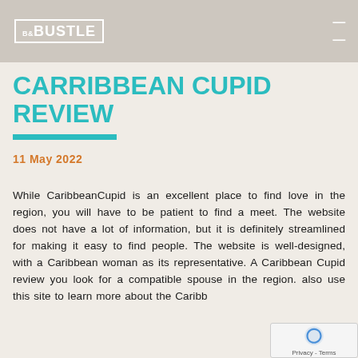B&BUSTLE
CARRIBBEAN CUPID REVIEW
11 May 2022
While CaribbeanCupid is an excellent place to find love in the region, you will have to be patient to find a meet. The website does not have a lot of information, but it is definitely streamlined for making it easy to find people. The website is well-designed, with a Caribbean woman as its representative. A Caribbean Cupid review you look for a compatible spouse in the region. also use this site to learn more about the Caribb...